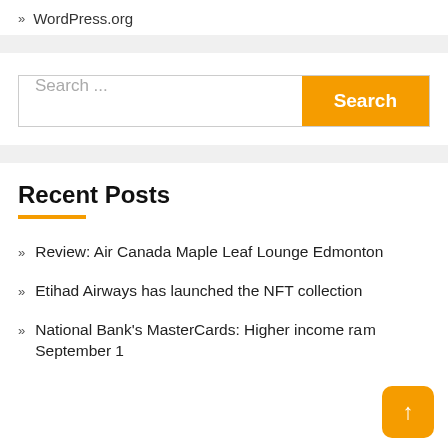» WordPress.org
Search ...
Recent Posts
» Review: Air Canada Maple Leaf Lounge Edmonton
» Etihad Airways has launched the NFT collection
» National Bank's MasterCards: Higher income ra... m September 1